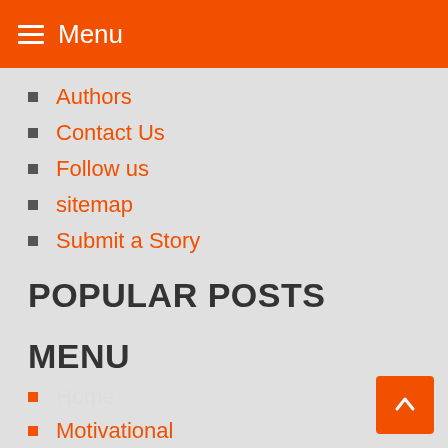Menu
Authors
Contact Us
Follow us
sitemap
Submit a Story
POPULAR POSTS
MENU
Home
Motivational